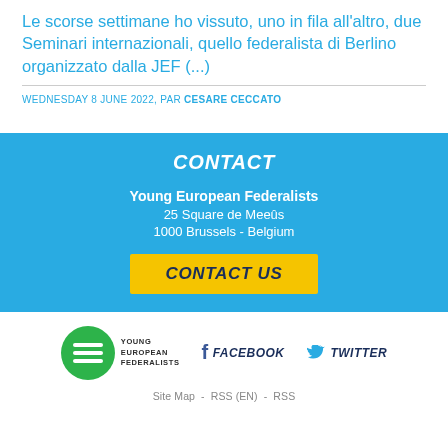Le scorse settimane ho vissuto, uno in fila all'altro, due Seminari internazionali, quello federalista di Berlino organizzato dalla JEF (...)
WEDNESDAY 8 JUNE 2022, PAR CESARE CECCATO
CONTACT
Young European Federalists
25 Square de Meeûs
1000 Brussels - Belgium
CONTACT US
[Figure (logo): Young European Federalists logo - green circle with horizontal lines and text]
FACEBOOK
TWITTER
Site Map - RSS (EN) - RSS